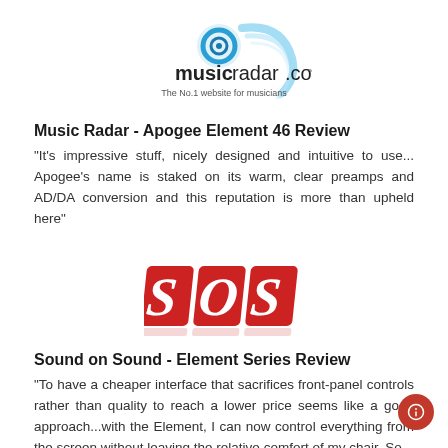[Figure (logo): MusicRadar.com logo with blue swirl icon and tagline 'The No.1 website for musicians']
Music Radar - Apogee Element 46 Review
"It's impressive stuff, nicely designed and intuitive to use... Apogee's name is staked on its warm, clear preamps and AD/DA conversion and this reputation is more than upheld here"
[Figure (logo): Sound on Sound (SOS) magazine logo in red with white italic letters]
Sound on Sound - Element Series Review
"To have a cheaper interface that sacrifices front-panel controls rather than quality to reach a lower price seems like a good approach...with the Element, I can now control everything from the screen without leaving the relative comfort of my chair. So